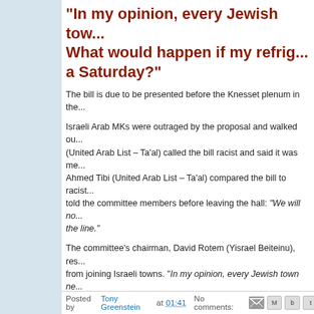"In my opinion, every Jewish town ne... What would happen if my refrig... a Saturday?"
The bill is due to be presented before the Knesset plenum in the...
Israeli Arab MKs were outraged by the proposal and walked ou... (United Arab List – Ta'al) called the bill racist and said it was me... Ahmed Tibi (United Arab List – Ta'al) compared the bill to racist... told the committee members before leaving the hall: "We will no... the line."
The committee's chairman, David Rotem (Yisrael Beiteinu), res... from joining Israeli towns. "In my opinion, every Jewish town ne... refrigerator stopped working on a Saturday?"
See also Bill allowing towns to reject residents gains ground
Posted by Tony Greenstein at 01:41   No comments: